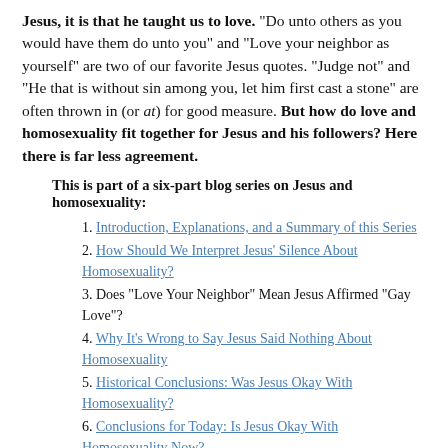Jesus, it is that he taught us to love. “Do unto others as you would have them do unto you” and “Love your neighbor as yourself” are two of our favorite Jesus quotes. “Judge not” and “He that is without sin among you, let him first cast a stone” are often thrown in (or at) for good measure. But how do love and homosexuality fit together for Jesus and his followers? Here there is far less agreement.
This is part of a six-part blog series on Jesus and homosexuality:
1. Introduction, Explanations, and a Summary of this Series
2. How Should We Interpret Jesus’ Silence About Homosexuality?
3. Does “Love Your Neighbor” Mean Jesus Affirmed “Gay Love”?
4. Why It’s Wrong to Say Jesus Said Nothing About Homosexuality
5. Historical Conclusions: Was Jesus Okay With Homosexuality?
6. Conclusions for Today: Is Jesus Okay With Homosexuality Now?
In my last post I argued, based on evidence from Jewish history, that it is virtually certain that rabbi Jesus agreed homosexual behavior is wrong. This is true even if he never